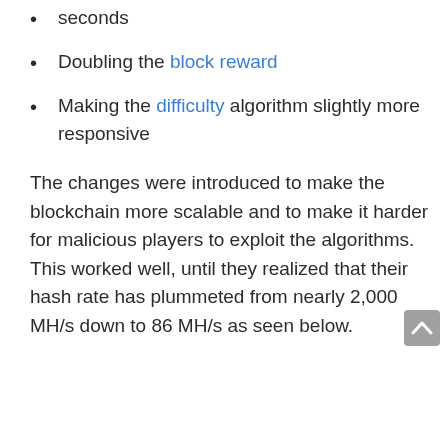seconds
Doubling the block reward
Making the difficulty algorithm slightly more responsive
The changes were introduced to make the blockchain more scalable and to make it harder for malicious players to exploit the algorithms. This worked well, until they realized that their hash rate has plummeted from nearly 2,000 MH/s down to 86 MH/s as seen below.